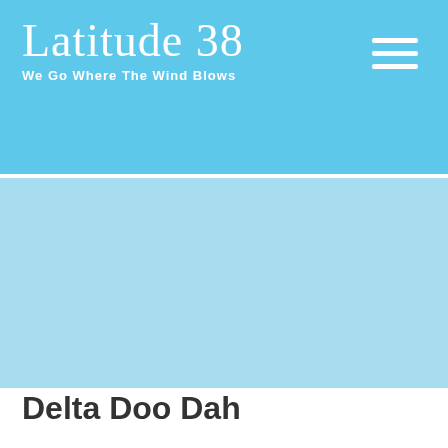Latitude 38 — We Go Where The Wind Blows
[Figure (illustration): Light blue hero image placeholder area below the header]
Delta Doo Dah